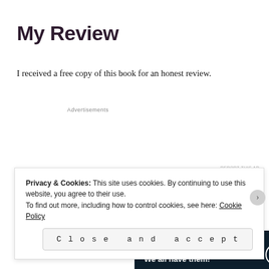My Review
I received a free copy of this book for an honest review.
Advertisements
[Figure (screenshot): Dark navy advertisement banner with text 'Opinions. We all have them!' and WordPress and Fresh News logos on the right.]
REPORT THIS AD
Privacy & Cookies: This site uses cookies. By continuing to use this website, you agree to their use.
To find out more, including how to control cookies, see here: Cookie Policy
Close and accept